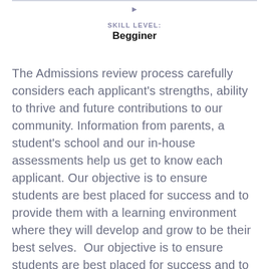SKILL LEVEL:
Begginer
The Admissions review process carefully considers each applicant's strengths, ability to thrive and future contributions to our community. Information from parents, a student's school and our in-house assessments help us get to know each applicant. Our objective is to ensure students are best placed for success and to provide them with a learning environment where they will develop and grow to be their best selves. Our objective is to ensure students are best placed for success and to provide them with a learning environment where they will develop